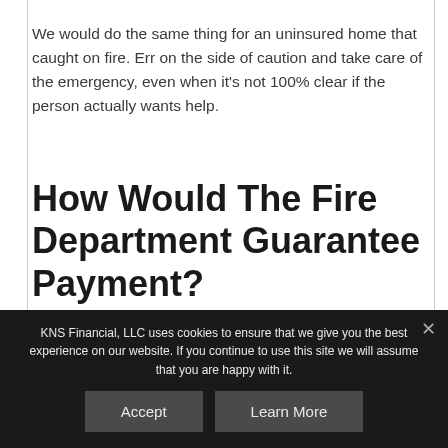We would do the same thing for an uninsured home that caught on fire. Err on the side of caution and take care of the emergency, even when it's not 100% clear if the person actually wants help.
How Would The Fire Department Guarantee Payment?
KNS Financial, LLC uses cookies to ensure that we give you the best experience on our website. If you continue to use this site we will assume that you are happy with it.